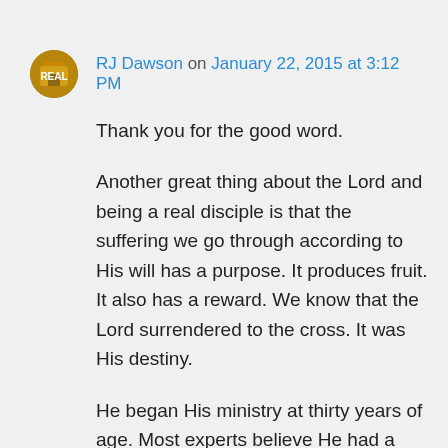RJ Dawson on January 22, 2015 at 3:12 PM
Thank you for the good word.
Another great thing about the Lord and being a real disciple is that the suffering we go through according to His will has a purpose. It produces fruit. It also has a reward. We know that the Lord surrendered to the cross. It was His destiny.
He began His ministry at thirty years of age. Most experts believe He had a public ministry of three and a half years. He spent less than one day from the time of His agony in the Garden of Gethsemane until